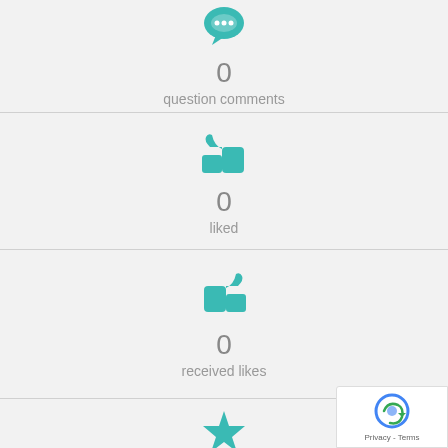[Figure (infographic): Teal speech bubble icon]
0
question comments
[Figure (infographic): Teal thumbs up icon (liked)]
0
liked
[Figure (infographic): Teal thumbs up icon (received likes)]
0
received likes
[Figure (infographic): Teal star icon]
0/10